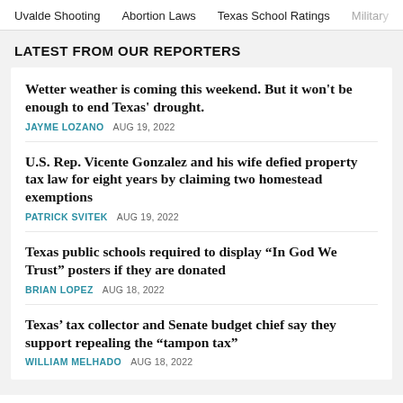Uvalde Shooting   Abortion Laws   Texas School Ratings   Military
LATEST FROM OUR REPORTERS
Wetter weather is coming this weekend. But it won't be enough to end Texas' drought.
JAYME LOZANO   AUG 19, 2022
U.S. Rep. Vicente Gonzalez and his wife defied property tax law for eight years by claiming two homestead exemptions
PATRICK SVITEK   AUG 19, 2022
Texas public schools required to display “In God We Trust” posters if they are donated
BRIAN LOPEZ   AUG 18, 2022
Texas’ tax collector and Senate budget chief say they support repealing the “tampon tax”
WILLIAM MELHADO   AUG 18, 2022